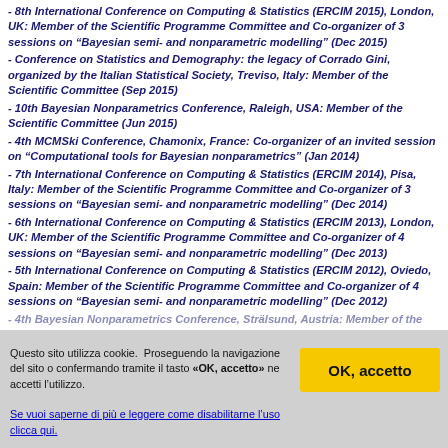- 8th International Conference on Computing & Statistics (ERCIM 2015), London, UK: Member of the Scientific Programme Committee and Co-organizer of 3 sessions on “Bayesian semi- and nonparametric modelling” (Dec 2015)
- Conference on Statistics and Demography: the legacy of Corrado Gini, organized by the Italian Statistical Society, Treviso, Italy: Member of the Scientific Committee (Sep 2015)
- 10th Bayesian Nonparametrics Conference, Raleigh, USA: Member of the Scientific Committee (Jun 2015)
- 4th MCMSki Conference, Chamonix, France: Co-organizer of an invited session on “Computational tools for Bayesian nonparametrics” (Jan 2014)
- 7th International Conference on Computing & Statistics (ERCIM 2014), Pisa, Italy: Member of the Scientific Programme Committee and Co-organizer of 3 sessions on “Bayesian semi- and nonparametric modelling” (Dec 2014)
- 6th International Conference on Computing & Statistics (ERCIM 2013), London, UK: Member of the Scientific Programme Committee and Co-organizer of 4 sessions on “Bayesian semi- and nonparametric modelling” (Dec 2013)
- 5th International Conference on Computing & Statistics (ERCIM 2012), Oviedo, Spain: Member of the Scientific Programme Committee and Co-organizer of 4 sessions on “Bayesian semi- and nonparametric modelling” (Dec 2012)
Questo sito utilizza cookie. Proseguendo la navigazione del sito o confermando tramite il tasto «OK, accetto» ne accetti l’utilizzo.
Se vuoi saperne di più e leggere come disabilitarne l’uso clicca qui.